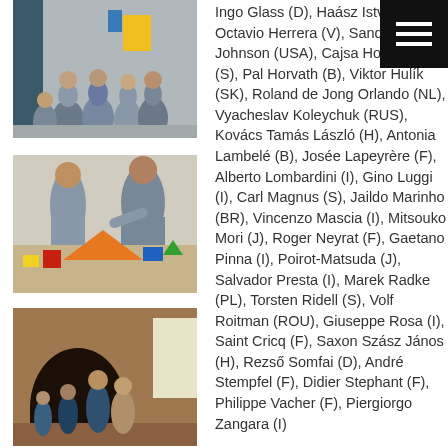[Figure (photo): Group of people viewed from behind, standing in a room with yellow paper on the wall]
[Figure (photo): Two men working with colorful geometric shapes (triangles) on a table]
[Figure (photo): People standing near a brick archway/tunnel entrance indoors]
Ingo Glass (D), Haász István (H), Octavio Herrera (V), Sandy Hoffer-Johnson (USA), Cajsa Holmstrand (S), Pal Horvath (B), Viktor Hulík (SK), Roland de Jong Orlando (NL), Vyacheslav Koleychuk (RUS), Kovács Tamás László (H), Antonia Lambelé (B), Josée Lapeyrère (F), Alberto Lombardini (I), Gino Luggi (I), Carl Magnus (S), Jaildo Marinho (BR), Vincenzo Mascia (I), Mitsouko Mori (J), Roger Neyrat (F), Gaetano Pinna (I), Poirot-Matsuda (J), Salvador Presta (I), Marek Radke (PL), Torsten Ridell (S), Volf Roitman (ROU), Giuseppe Rosa (I), Saint Cricq (F), Saxon Szász János (H), Rezső Somfai (D), André Stempfel (F), Didier Stephant (F), Philippe Vacher (F), Piergiorgo Zangara (I)